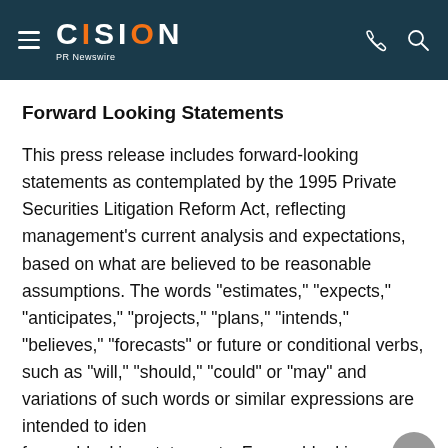CISION PR Newswire
Forward Looking Statements
This press release includes forward-looking statements as contemplated by the 1995 Private Securities Litigation Reform Act, reflecting management's current analysis and expectations, based on what are believed to be reasonable assumptions. The words "estimates," "expects," "anticipates," "projects," "plans," "intends," "believes," "forecasts" or future or conditional verbs, such as "will," "should," "could" or "may" and variations of such words or similar expressions are intended to identify forward-looking statements. Forward-looking